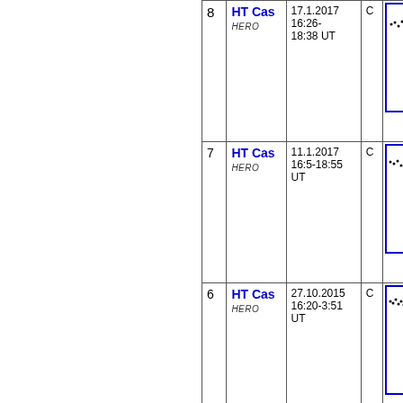| # | Star / Observer | Date/Time | Type | Light Curve |
| --- | --- | --- | --- | --- |
| 8 | HT Cas
HERO | 17.1.2017 16:26-18:38 UT | C | [light curve chart] |
| 7 | HT Cas
HERO | 11.1.2017 16:5-18:55 UT | C | [light curve chart] |
| 6 | HT Cas
HERO | 27.10.2015 16:20-3:51 UT | C | [light curve chart] |